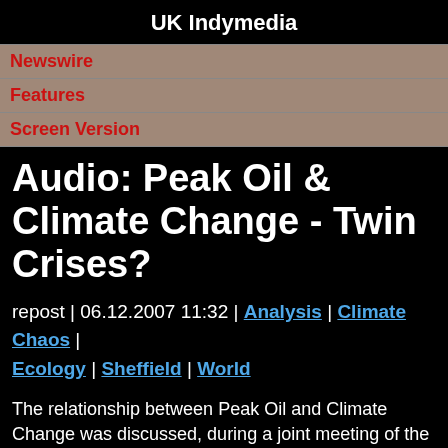UK Indymedia
Newswire
Features
Screen Version
Audio: Peak Oil & Climate Change - Twin Crises?
repost | 06.12.2007 11:32 | Analysis | Climate Chaos | Ecology | Sheffield | World
The relationship between Peak Oil and Climate Change was discussed, during a joint meeting of the All Party Parliamentary Groups on Peak Oil and on Climate Change, in the Grand Committee Room in Parliament on 5th December 2007.
Speakers:
Jeremy Leggett, author of 'Half Gone' and CEO of Sol...